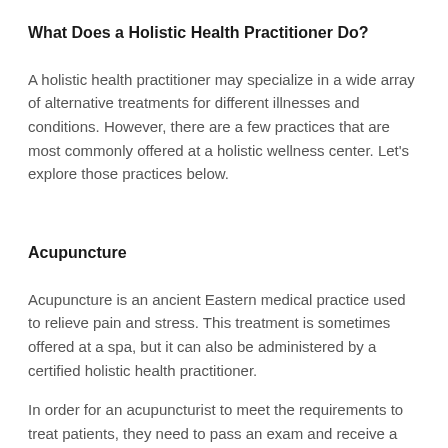What Does a Holistic Health Practitioner Do?
A holistic health practitioner may specialize in a wide array of alternative treatments for different illnesses and conditions. However, there are a few practices that are most commonly offered at a holistic wellness center. Let's explore those practices below.
Acupuncture
Acupuncture is an ancient Eastern medical practice used to relieve pain and stress. This treatment is sometimes offered at a spa, but it can also be administered by a certified holistic health practitioner.
In order for an acupuncturist to meet the requirements to treat patients, they need to pass an exam and receive a